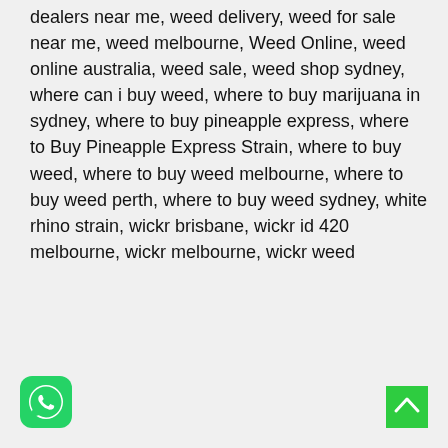dealers near me, weed delivery, weed for sale near me, weed melbourne, Weed Online, weed online australia, weed sale, weed shop sydney, where can i buy weed, where to buy marijuana in sydney, where to buy pineapple express, where to Buy Pineapple Express Strain, where to buy weed, where to buy weed melbourne, where to buy weed perth, where to buy weed sydney, white rhino strain, wickr brisbane, wickr id 420 melbourne, wickr melbourne, wickr weed
[Figure (logo): WhatsApp icon: green rounded square with white phone/chat bubble logo]
[Figure (other): Green scroll-to-top button with white upward chevron arrow]